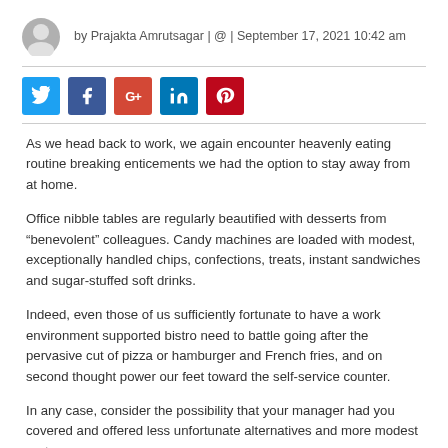by Prajakta Amrutsagar | @ | September 17, 2021 10:42 am
[Figure (other): Social share buttons: Twitter, Facebook, Google+, LinkedIn, Pinterest]
As we head back to work, we again encounter heavenly eating routine breaking enticements we had the option to stay away from at home.
Office nibble tables are regularly beautified with desserts from “benevolent” colleagues. Candy machines are loaded with modest, exceptionally handled chips, confections, treats, instant sandwiches and sugar-stuffed soft drinks.
Indeed, even those of us sufficiently fortunate to have a work environment supported bistro need to battle going after the pervasive cut of pizza or hamburger and French fries, and on second thought power our feet toward the self-service counter.
In any case, consider the possibility that your manager had you covered and offered less unfortunate alternatives and more modest part measures.